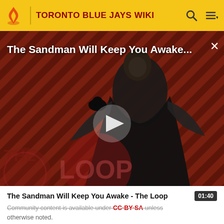TORONTO BLUE JAYS WIKI
[Figure (screenshot): Video thumbnail showing a dark-robed figure against a diagonal striped red/dark background with 'THE LOOP' text overlay and a play button in the center. Title text 'The Sandman Will Keep You Awake...' overlaid at top.]
The Sandman Will Keep You Awake - The Loop
Community content is available under CC-BY-SA unless otherwise noted.